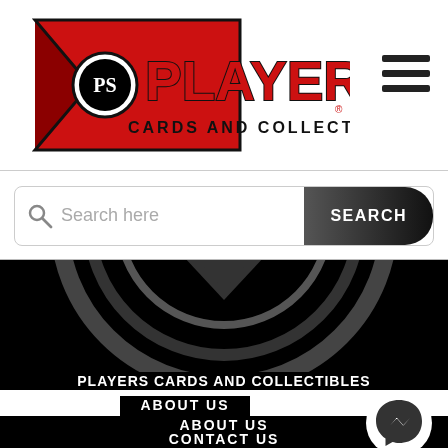[Figure (logo): Players Cards and Collectibles logo with red pennant/shield shape and bold PLAYERS text]
[Figure (other): Hamburger menu icon with three horizontal lines]
[Figure (other): Search bar with magnifying glass icon, placeholder text 'Search here', and dark SEARCH button]
[Figure (other): Partial circle/badge graphic on black background]
PLAYERS CARDS AND COLLECTIBLES
ABOUT US
ABOUT US
CONTACT US
HOURS
[Figure (other): Facebook Messenger icon in white circle on black background]